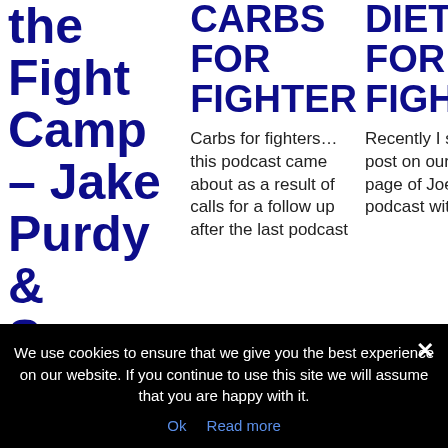the Fight Camp – Jake Purdy & Sonny Perez @ Yokkao
CARBS FOR FIGHTER
Carbs for fighters… this podcast came about as a result of calls for a follow up after the last podcast
DIET FOR FIGHTER
Recently I shared a post on our facebook page of Joe Rogan's podcast with Dr Andy
We use cookies to ensure that we give you the best experience on our website. If you continue to use this site we will assume that you are happy with it.